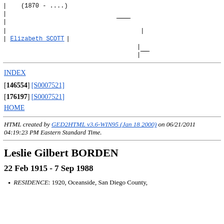[Figure (other): Genealogy tree diagram showing Elizabeth SCOTT with vertical and horizontal lines connecting to descendants, with date (1870 - ....)]
INDEX
[146554] [S0007521]
[176197] [S0007521]
HOME
HTML created by GED2HTML v3.6-WIN95 (Jan 18 2000) on 06/21/2011 04:19:23 PM Eastern Standard Time.
Leslie Gilbert BORDEN
22 Feb 1915 - 7 Sep 1988
RESIDENCE: 1920, Oceanside, San Diego County,